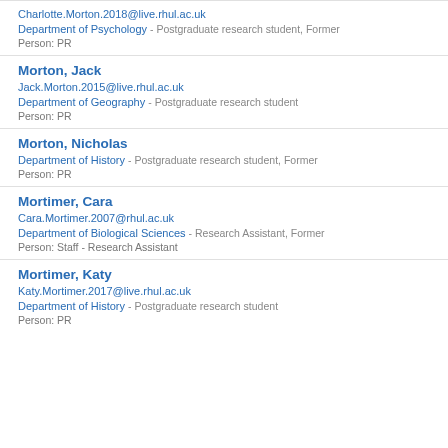Charlotte.Morton.2018@live.rhul.ac.uk
Department of Psychology - Postgraduate research student, Former
Person: PR
Morton, Jack
Jack.Morton.2015@live.rhul.ac.uk
Department of Geography - Postgraduate research student
Person: PR
Morton, Nicholas
Department of History - Postgraduate research student, Former
Person: PR
Mortimer, Cara
Cara.Mortimer.2007@rhul.ac.uk
Department of Biological Sciences - Research Assistant, Former
Person: Staff - Research Assistant
Mortimer, Katy
Katy.Mortimer.2017@live.rhul.ac.uk
Department of History - Postgraduate research student
Person: PR